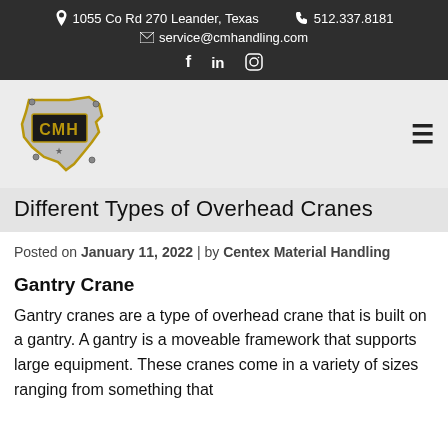1055 Co Rd 270 Leander, Texas  512.337.8181  service@cmhandling.com
[Figure (logo): CMH Centex Material Handling logo — Texas state outline shape in silver/gold with CMH text inside]
Different Types of Overhead Cranes
Posted on January 11, 2022  |  by Centex Material Handling
Gantry Crane
Gantry cranes are a type of overhead crane that is built on a gantry. A gantry is a moveable framework that supports large equipment. These cranes come in a variety of sizes ranging from something that